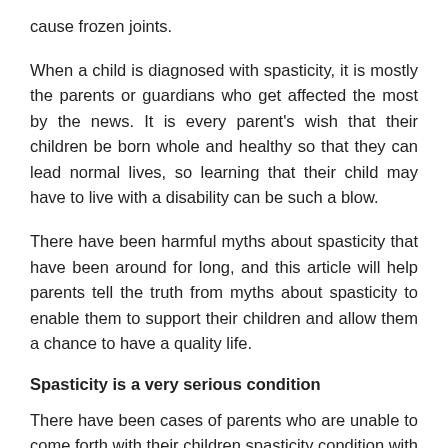cause frozen joints.
When a child is diagnosed with spasticity, it is mostly the parents or guardians who get affected the most by the news. It is every parent's wish that their children be born whole and healthy so that they can lead normal lives, so learning that their child may have to live with a disability can be such a blow.
There have been harmful myths about spasticity that have been around for long, and this article will help parents tell the truth from myths about spasticity to enable them to support their children and allow them a chance to have a quality life.
Spasticity is a very serious condition
There have been cases of parents who are unable to come forth with their children spasticity condition with the